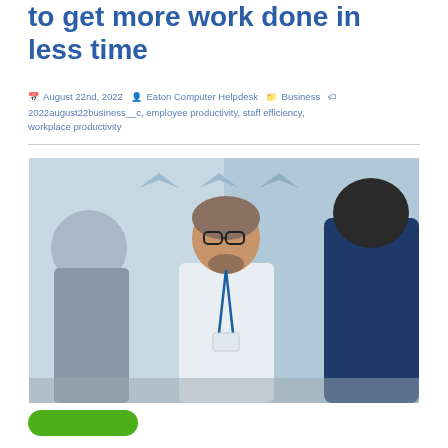to get more work done in less time
August 22nd, 2022   Eaton Computer Helpdesk   Business   2022august22business__c, employee productivity, staff efficiency, workplace productivity
[Figure (photo): Three business professionals in a meeting room setting. A middle-aged man with glasses and a beard wearing a white shirt and blue lanyard stands in the center, another person in a blue suit is in the foreground on the right, and a third person is partially visible on the left.]
[Figure (other): Green rounded rectangle button at the bottom of the page]